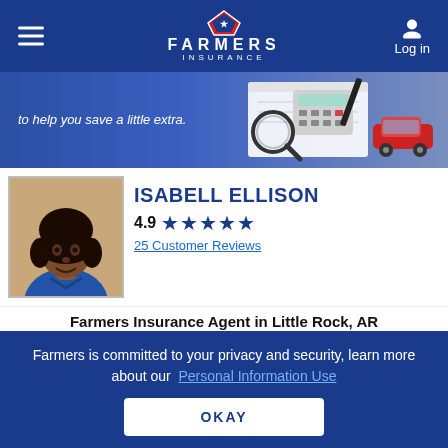FARMERS INSURANCE — Navigation bar with hamburger menu and Log in
[Figure (screenshot): Hero banner with text 'to help you save a little extra.' and image of calculator, magnifying glass, pen, notebook, and red toy car on blue background]
[Figure (photo): Agent photo of Isabell Ellison, a woman wearing a blue shirt]
ISABELL ELLISON
4.9 ★★★★★
25 Customer Reviews
Farmers Insurance Agent in Little Rock, AR
GET A QUOTE
Farmers is committed to your privacy and security, learn more about our Personal Information Use
OKAY